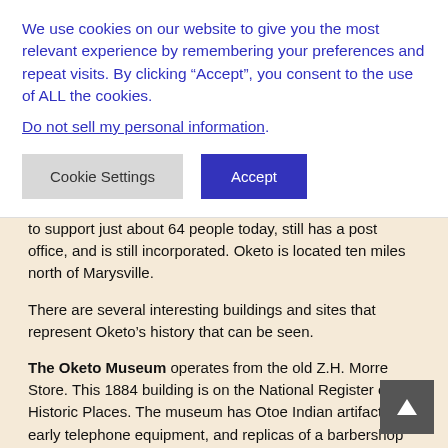We use cookies on our website to give you the most relevant experience by remembering your preferences and repeat visits. By clicking “Accept”, you consent to the use of ALL the cookies.
Do not sell my personal information.
Cookie Settings
Accept
to support just about 64 people today, still has a post office, and is still incorporated. Oketo is located ten miles north of Marysville.
There are several interesting buildings and sites that represent Oketo’s history that can be seen.
The Oketo Museum operates from the old Z.H. Morre Store. This 1884 building is on the National Register of Historic Places. The museum has Otoe Indian artifacts, early telephone equipment, and replicas of a barbershop and a general store. It is open by appointment. Oketo State Bank Building, dating from